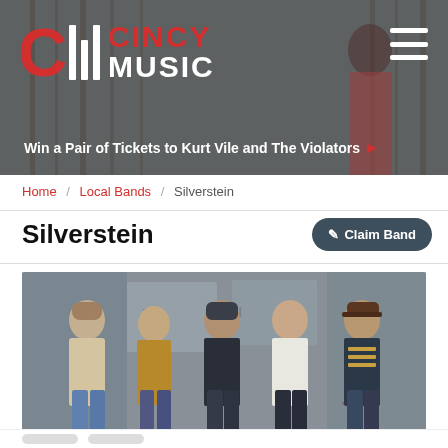CINCY MUSIC — Win a Pair of Tickets to Kurt Vile and The Violators
Home / Local Bands / Silverstein
Silverstein
[Figure (photo): Five male band members standing in front of a graffiti-covered wall in an alley. Left to right: long-haired man in cream sweater and jeans, man in tan/brown plaid shirt, man in dark jacket with beanie, man in white shirt and dark jeans, man in striped shirt and denim jacket with cap.]